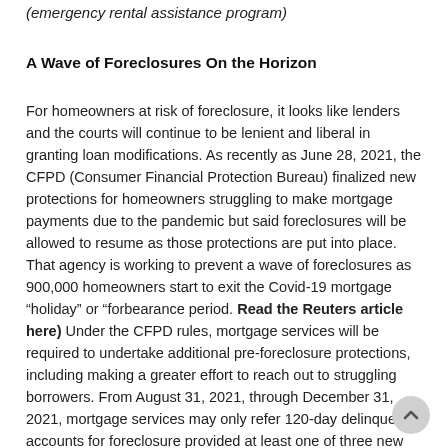(emergency rental assistance program)
A Wave of Foreclosures On the Horizon
For homeowners at risk of foreclosure, it looks like lenders and the courts will continue to be lenient and liberal in granting loan modifications. As recently as June 28, 2021, the CFPD (Consumer Financial Protection Bureau) finalized new protections for homeowners struggling to make mortgage payments due to the pandemic but said foreclosures will be allowed to resume as those protections are put into place. That agency is working to prevent a wave of foreclosures as 900,000 homeowners start to exit the Covid-19 mortgage “holiday” or “forbearance period. Read the Reuters article here) Under the CFPD rules, mortgage services will be required to undertake additional pre-foreclosure protections, including making a greater effort to reach out to struggling borrowers. From August 31, 2021, through December 31, 2021, mortgage services may only refer 120-day delinquent accounts for foreclosure provided at least one of three new safeguards have been met. (the borrower has been evaluat and there are no available options to avoid foreclosure, the